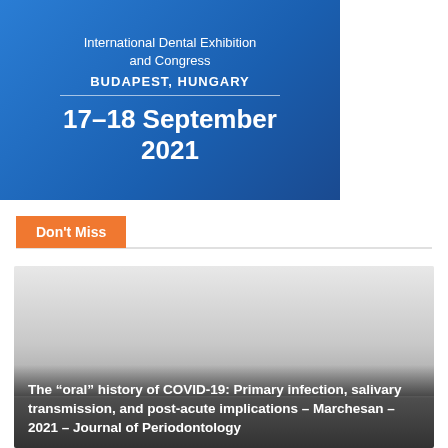[Figure (illustration): Dental World 2021 event banner - International Dental Exhibition and Congress, Budapest, Hungary, 17-18 September 2021, blue gradient background]
Don't Miss
[Figure (illustration): Article card with gray gradient image placeholder and article title overlay]
The “oral” history of COVID-19: Primary infection, salivary transmission, and post-acute implications – Marchesan – 2021 – Journal of Periodontology